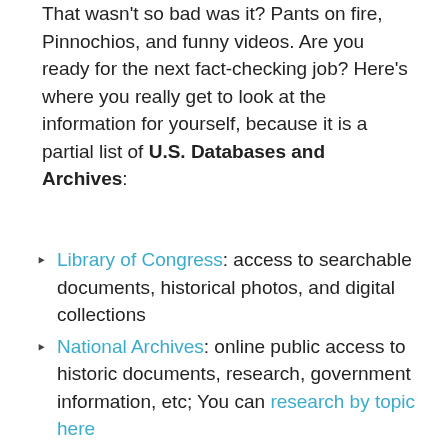That wasn't so bad was it? Pants on fire, Pinnochios, and funny videos. Are you ready for the next fact-checking job? Here's where you really get to look at the information for yourself, because it is a partial list of U.S. Databases and Archives:
Library of Congress: access to searchable documents, historical photos, and digital collections
National Archives: online public access to historic documents, research, government information, etc; You can research by topic here
Bureau of Labor